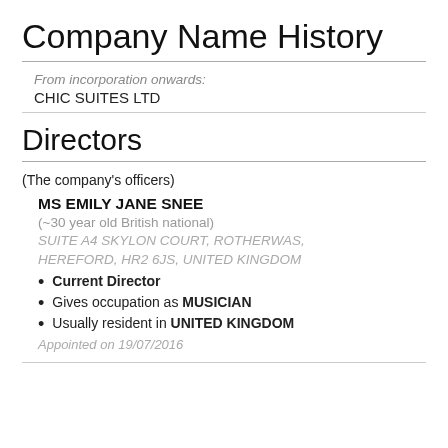Company Name History
From incorporation onwards:
CHIC SUITES LTD
Directors
(The company's officers)
MS EMILY JANE SNEE
(~30 year old British national)
SUITE A4 SKYLON COURT, ROTHERWAS, HEREFORD, HR2 6JS, UNITED KINGDOM
Current Director
Gives occupation as MUSICIAN
Usually resident in UNITED KINGDOM
Appointed on 19/07/2016